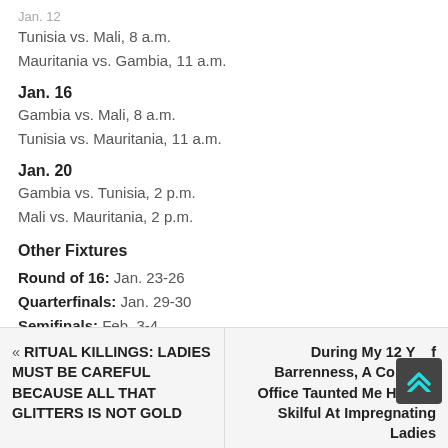Tunisia vs. Mali, 8 a.m.
Mauritania vs. Gambia, 11 a.m.
Jan. 16
Gambia vs. Mali, 8 a.m.
Tunisia vs. Mauritania, 11 a.m.
Jan. 20
Gambia vs. Tunisia, 2 p.m.
Mali vs. Mauritania, 2 p.m.
Other Fixtures
Round of 16: Jan. 23-26
Quarterfinals: Jan. 29-30
Semifinals: Feb. 3-4
Third-place match: Feb. 6
Final: Feb. 6
« RITUAL KILLINGS: LADIES MUST BE CAREFUL BECAUSE ALL THAT GLITTERS IS NOT GOLD  |  During My 12 Years of Barrenness, A Colleague In Office Taunted Me He was Skilful At Impregnating Ladies...